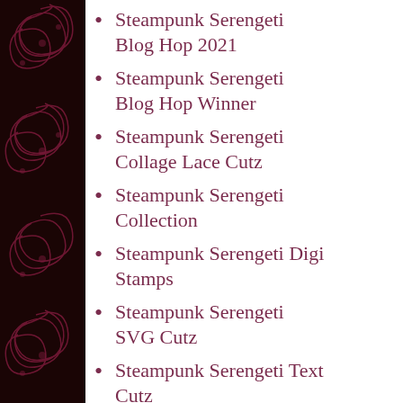Steampunk Serengeti Blog Hop 2021
Steampunk Serengeti Blog Hop Winner
Steampunk Serengeti Collage Lace Cutz
Steampunk Serengeti Collection
Steampunk Serengeti Digi Stamps
Steampunk Serengeti SVG Cutz
Steampunk Serengeti Text Cutz
Stop Motion Videos by Leigh
Storybook
Summer BUZZ Blog Hop 2020